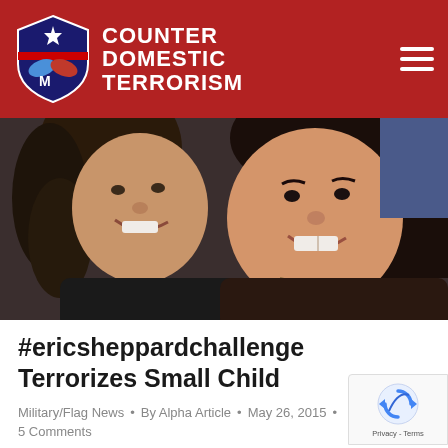COUNTER DOMESTIC TERRORISM
[Figure (photo): Photo of two females, an adult woman with curly hair and a young girl, both smiling and posing together for a close selfie-style photo against a dark background.]
#ericsheppardchallenge Terrorizes Small Child
Military/Flag News • By Alpha Article • May 26, 2015 • 5 Comments